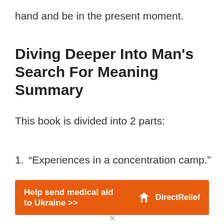hand and be in the present moment.
Diving Deeper Into Man's Search For Meaning Summary
This book is divided into 2 parts:
1. “Experiences in a concentration camp.”
2. “Logotherapy in a nutshell.”
[Figure (other): Orange advertisement banner: 'Help send medical aid to Ukraine >>' with Direct Relief logo on the right]